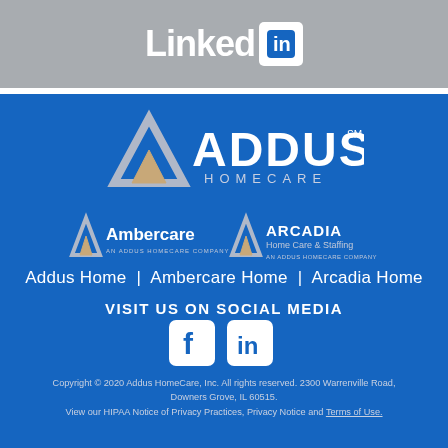[Figure (logo): LinkedIn logo in white on gray background header]
[Figure (logo): Addus HomeCare logo with triangular A icon in silver/gray, white text ADDUS and HOMECARE on blue background]
[Figure (logo): Ambercare logo (An Addus HomeCare Company) and Arcadia Home Care & Staffing logo (An Addus HomeCare Company) side by side]
Addus Home | Ambercare Home | Arcadia Home
VISIT US ON SOCIAL MEDIA
[Figure (logo): Facebook and LinkedIn social media icons in white on blue square/rounded backgrounds]
Copyright © 2020 Addus HomeCare, Inc. All rights reserved. 2300 Warrenville Road, Downers Grove, IL 60515. View our HIPAA Notice of Privacy Practices, Privacy Notice and Terms of Use.